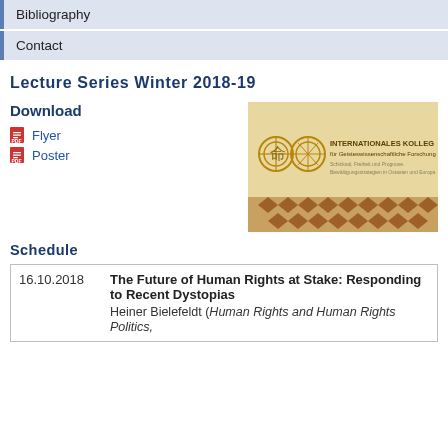Bibliography
Contact
Lecture Series Winter 2018-19
Download
Flyer
Poster
[Figure (illustration): Thumbnail image of Internationales Kolleg für Geisteswissenschaftliche Forschung showing institutional logo and decorative pattern]
Schedule
| 16.10.2018 | The Future of Human Rights at Stake: Responding to Recent Dystopias
Heiner Bielefeldt (Human Rights and Human Rights Politics, |